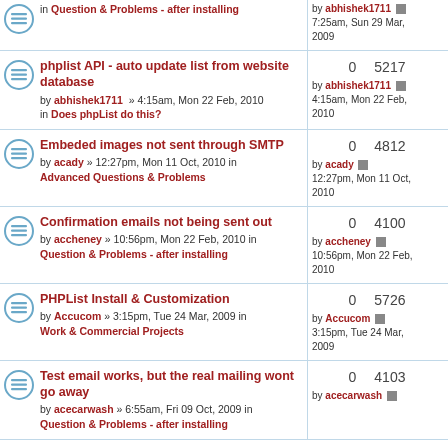in Question & Problems - after installing | by abhishek1711 | 7:25am, Sun 29 Mar, 2009
phplist API - auto update list from website database | by abhishek1711 » 4:15am, Mon 22 Feb, 2010 in Does phpList do this? | 0 replies 5217 views | by abhishek1711 4:15am, Mon 22 Feb, 2010
Embeded images not sent through SMTP | by acady » 12:27pm, Mon 11 Oct, 2010 in Advanced Questions & Problems | 0 replies 4812 views | by acady 12:27pm, Mon 11 Oct, 2010
Confirmation emails not being sent out | by accheney » 10:56pm, Mon 22 Feb, 2010 in Question & Problems - after installing | 0 replies 4100 views | by accheney 10:56pm, Mon 22 Feb, 2010
PHPList Install & Customization | by Accucom » 3:15pm, Tue 24 Mar, 2009 in Work & Commercial Projects | 0 replies 5726 views | by Accucom 3:15pm, Tue 24 Mar, 2009
Test email works, but the real mailing wont go away | by acecarwash » 6:55am, Fri 09 Oct, 2009 in Question & Problems - after installing | 0 replies 4103 views | by acecarwash